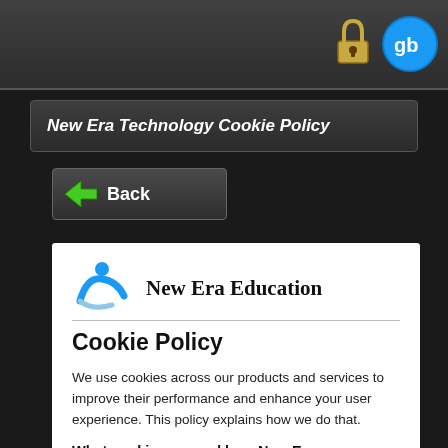[Figure (screenshot): Browser chrome top bar with lock icon and a blue circular logo icon (gb/ob logo)]
New Era Technology Cookie Policy
[Figure (illustration): Back button with green left-arrow icon and white 'Back' text on dark gray button]
[Figure (logo): New Era Education logo: blue swoosh figure with a circle above it]
New Era Education
Cookie Policy
We use cookies across our products and services to improve their performance and enhance your user experience. This policy explains how we do that.
What cookies are and how New Era uses